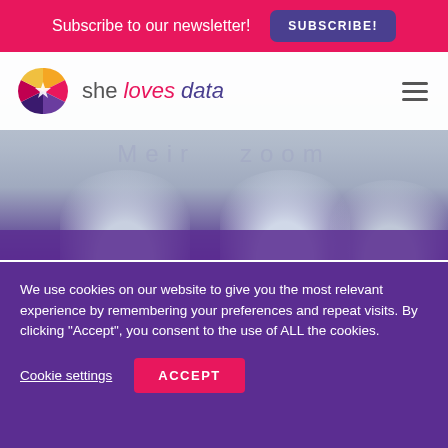Subscribe to our newsletter! SUBSCRIBE!
[Figure (logo): She loves data website header with logo (colorful pinwheel/fan icon) and brand name 'she loves data', hamburger menu, Zoom watermark and faces in background]
09/11/2021 | by Effie
Intro to Ads Measurement for
We use cookies on our website to give you the most relevant experience by remembering your preferences and repeat visits. By clicking "Accept", you consent to the use of ALL the cookies.
Cookie settings   ACCEPT